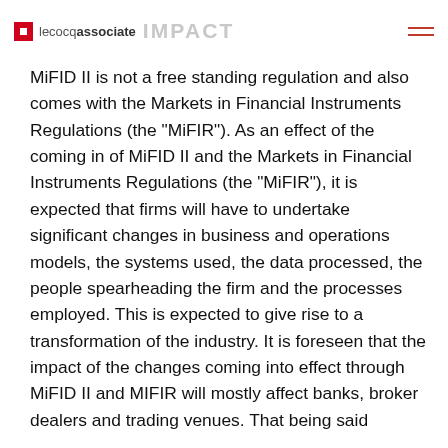lecocqassociate IMPACT
MiFID II is not a free standing regulation and also comes with the Markets in Financial Instruments Regulations (the “MiFIR”). As an effect of the coming in of MiFID II and the Markets in Financial Instruments Regulations (the “MiFIR”), it is expected that firms will have to undertake significant changes in business and operations models, the systems used, the data processed, the people spearheading the firm and the processes employed. This is expected to give rise to a transformation of the industry. It is foreseen that the impact of the changes coming into effect through MiFID II and MIFIR will mostly affect banks, broker dealers and trading venues. That being said